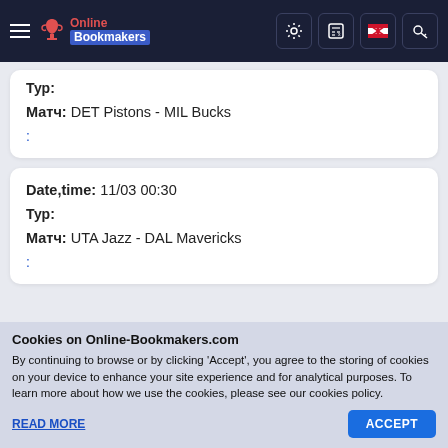Online Bookmakers
Тур:
Матч: DET Pistons - MIL Bucks
:
Date,time: 11/03 00:30
Тур:
Матч: UTA Jazz - DAL Mavericks
:
Cookies on Online-Bookmakers.com
By continuing to browse or by clicking 'Accept', you agree to the storing of cookies on your device to enhance your site experience and for analytical purposes. To learn more about how we use the cookies, please see our cookies policy.
READ MORE    ACCEPT